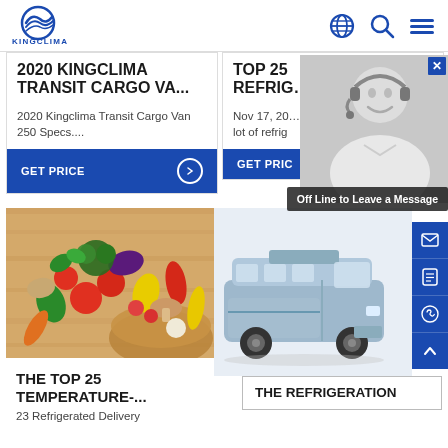KINGCLIMA
2020 KINGCLIMA TRANSIT CARGO VA...
2020 Kingclima Transit Cargo Van 250 Specs....
TOP 25 REFRIG...
Nov 17, 20... lot of refrig
[Figure (photo): Person with headset customer support photo]
Off Line to Leave a Message
[Figure (photo): Fresh vegetables and fruits in a basket on wooden table]
[Figure (photo): Silver electric van vehicle photo]
THE TOP 25 TEMPERATURE-...
23 Refrigerated Delivery
THE REFRIGERATION